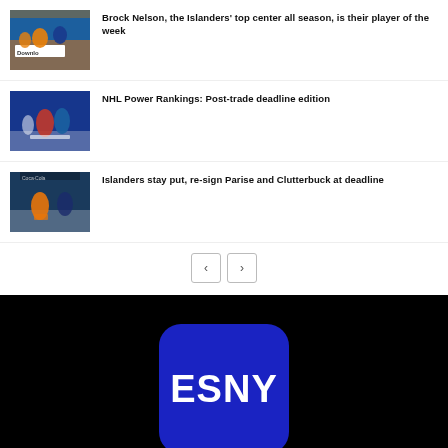[Figure (photo): Hockey players in blue and orange Islanders jerseys in front of crowd, with 'Download' text visible on rink board]
Brock Nelson, the Islanders' top center all season, is their player of the week
[Figure (photo): Two hockey players on ice, Rangers red/blue vs another team in white/blue jerseys]
NHL Power Rankings: Post-trade deadline edition
[Figure (photo): Islanders player in orange jersey skating with puck, defender nearby on ice]
Islanders stay put, re-sign Parise and Clutterbuck at deadline
[Figure (logo): ESNY logo — white bold text 'ESNY' on dark blue rounded rectangle, on black background]